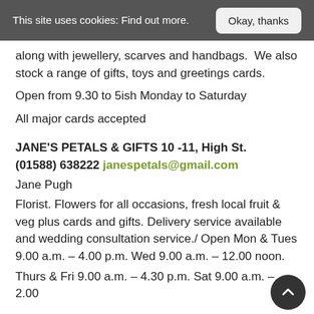This site uses cookies: Find out more.
along with jewellery, scarves and handbags.  We also stock a range of gifts, toys and greetings cards.
Open from 9.30 to 5ish Monday to Saturday
All major cards accepted
JANE'S PETALS & GIFTS 10 -11, High St.
(01588) 638222 janespetals@gmail.com
Jane Pugh
Florist. Flowers for all occasions, fresh local fruit & veg plus cards and gifts. Delivery service available and wedding consultation service./ Open Mon & Tues 9.00 a.m. – 4.00 p.m. Wed 9.00 a.m. – 12.00 noon.
Thurs & Fri 9.00 a.m. – 4.30 p.m. Sat 9.00 a.m. – 2.00